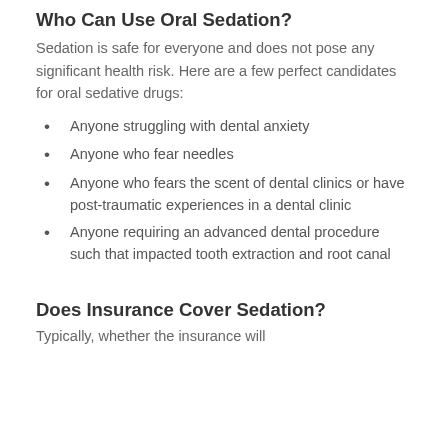Who Can Use Oral Sedation?
Sedation is safe for everyone and does not pose any significant health risk. Here are a few perfect candidates for oral sedative drugs:
Anyone struggling with dental anxiety
Anyone who fear needles
Anyone who fears the scent of dental clinics or have post-traumatic experiences in a dental clinic
Anyone requiring an advanced dental procedure such that impacted tooth extraction and root canal
Does Insurance Cover Sedation?
Typically, whether the insurance will